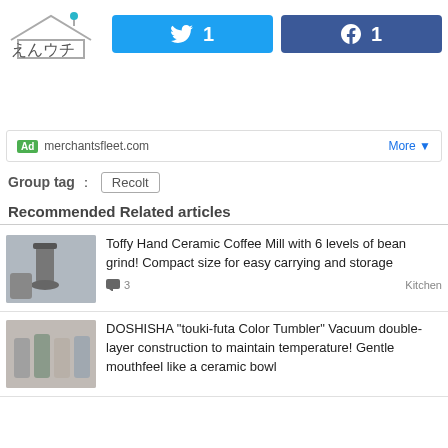[Figure (logo): えんウチ logo with house/bird icon]
[Figure (infographic): Twitter share button showing count 1]
[Figure (infographic): Facebook share button showing count 1]
Ad  merchantsfleet.com    More ▼
Group tag :  Recolt
Recommended Related articles
Toffy Hand Ceramic Coffee Mill with 6 levels of bean grind! Compact size for easy carrying and storage
💬 3    Kitchen
DOSHISHA "touki-futa Color Tumbler" Vacuum double-layer construction to maintain temperature! Gentle mouthfeel like a ceramic bowl